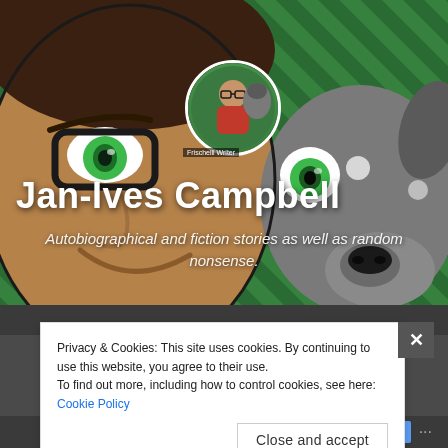[Figure (illustration): Cartoon/comic-style illustration banner showing a man with dark hair and thick-rimmed glasses with green eyes alongside a grey dog with large green eyes, on a green diagonal-striped background. A circular avatar of a real person wearing glasses and a red jacket with a dog is overlaid in the upper center area.]
Jan-Ives Campbell
Autobiographical and fiction stories as well as random nonsense.
Privacy & Cookies: This site uses cookies. By continuing to use this website, you agree to their use.
To find out more, including how to control cookies, see here: Cookie Policy
Close and accept
+ Follow